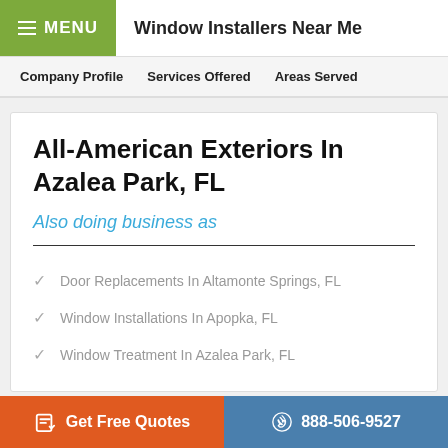Window Installers Near Me
Company Profile   Services Offered   Areas Served
All-American Exteriors In Azalea Park, FL
Also doing business as
Door Replacements In Altamonte Springs, FL
Window Installations In Apopka, FL
Window Treatment In Azalea Park, FL
Get Free Quotes   888-506-9527